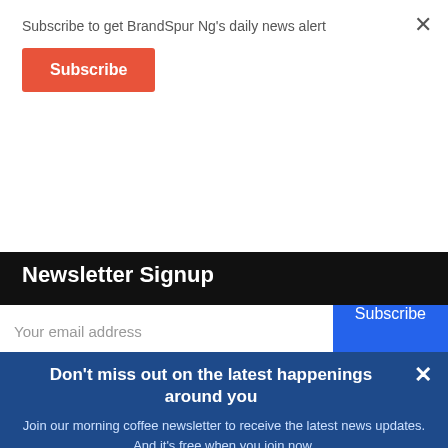Subscribe to get BrandSpur Ng's daily news alert
Subscribe
Newsletter Signup
Your email address
Subscribe
Don't miss out on the latest happenings around you
Join our morning coffee newsletter to receive the latest news updates. And it's free when you join now.
Email
Name
JOIN NOW